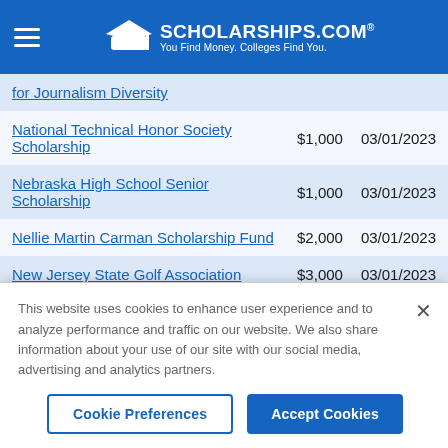SCHOLARSHIPS.COM® — You Find Money. Colleges Find You.
| Scholarship Name | Amount | Deadline |
| --- | --- | --- |
| for Journalism Diversity |  |  |
| National Technical Honor Society Scholarship | $1,000 | 03/01/2023 |
| Nebraska High School Senior Scholarship | $1,000 | 03/01/2023 |
| Nellie Martin Carman Scholarship Fund | $2,000 | 03/01/2023 |
| New Jersey State Golf Association | $3,000 | 03/01/2023 |
This website uses cookies to enhance user experience and to analyze performance and traffic on our website. We also share information about your use of our site with our social media, advertising and analytics partners.